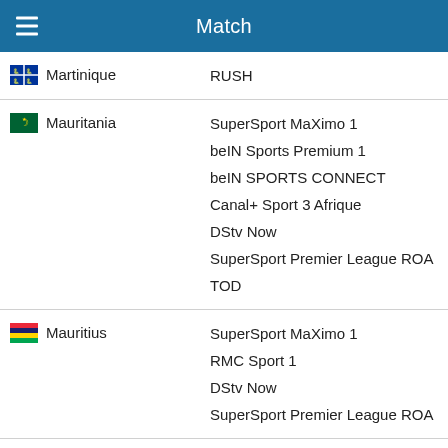Match
Martinique — RUSH
Mauritania — SuperSport MaXimo 1, beIN Sports Premium 1, beIN SPORTS CONNECT, Canal+ Sport 3 Afrique, DStv Now, SuperSport Premier League ROA, TOD
Mauritius — SuperSport MaXimo 1, RMC Sport 1, DStv Now, SuperSport Premier League ROA
Mayotte — SuperSport MaXimo 1, SuperSport Premier League ROA